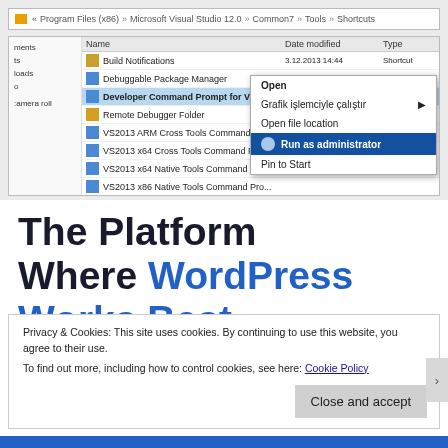[Figure (screenshot): Windows Explorer screenshot showing Program Files (x86) > Microsoft Visual Studio 12.0 > Common7 > Tools > Shortcuts folder contents. A context menu is open on 'Developer Command Prompt for VS2013' with options: Open (bold), Grafik işlemciyle çalıştır (with arrow), Open file location, Run as administrator (highlighted in blue), Pin to Start. Files listed include Build Notifications, Debuggable Package Manager, Developer Command Prompt for VS2013, Remote Debugger Folder, VS2013 ARM Cross Tools Command Pro..., VS2013 x64 Cross Tools Command Prompt, VS2013 x64 Native Tools Command Pro..., VS2013 x86 Native Tools Command Pro... Each with date 3.12.2013 and type Shortcut.]
The Platform Where WordPress Works Best
Privacy & Cookies: This site uses cookies. By continuing to use this website, you agree to their use.
To find out more, including how to control cookies, see here: Cookie Policy